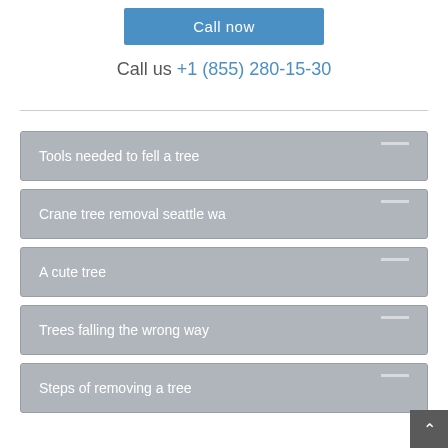Call now
Call us +1 (855) 280-15-30
Tools needed to fell a tree
Crane tree removal seattle wa
A cute tree
Trees falling the wrong way
Steps of removing a tree